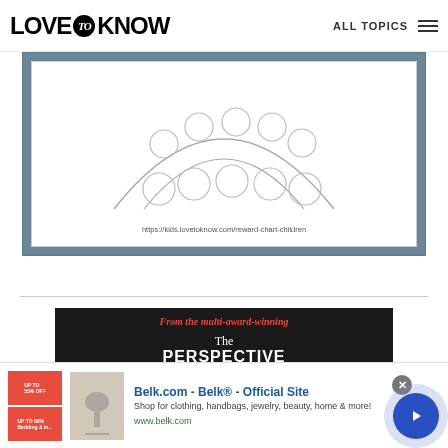LOVE to KNOW | ALL TOPICS
[Figure (illustration): Long-term goal reward chart illustration showing circles arranged in a pattern, with URL https://kids.lovetoknow.com/reward-chart-children]
Long-Term Goal Chart
[Figure (photo): Advertisement for 'The Perspective' book showing 'From the multi-award-winning The PERSPECTIVE' and text 'The 100 debates that govern your life.']
[Figure (screenshot): Bottom advertisement banner for Belk.com - Belk Official Site. Shop for clothing, handbags, jewelry, beauty, home & more! www.belk.com]